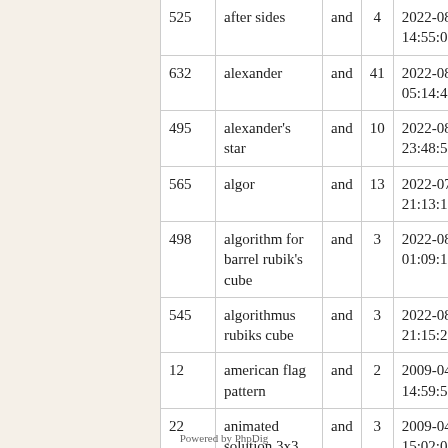| ID | Name | Op | Count | Date |
| --- | --- | --- | --- | --- |
| 525 | after sides | and | 4 | 2022-08-2… 14:55:01 |
| 632 | alexander | and | 41 | 2022-08-31 05:14:40 |
| 495 | alexander's star | and | 10 | 2022-08-19 23:48:53 |
| 565 | algor | and | 13 | 2022-07-26 21:13:12 |
| 498 | algorithm for barrel rubik's cube | and | 3 | 2022-08-21 01:09:10 |
| 545 | algorithmus rubiks cube | and | 3 | 2022-08-27 21:15:20 |
| 12 | american flag pattern | and | 2 | 2009-04-14 14:59:53 |
| 22 | animated solution 3x3 cube | and | 3 | 2009-04-14 15:02:06 |
<< | < | 4 5 6 7 8 9 10 11 12 | > | >>
Powered by PhpDig
Powered by PhpDig